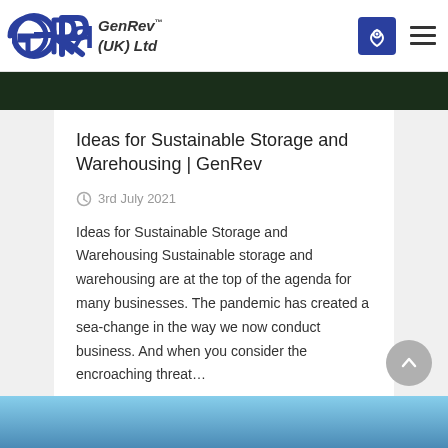GenRev™ (UK) Ltd
[Figure (photo): Dark green/black image strip at top of article]
Ideas for Sustainable Storage and Warehousing | GenRev
3rd July 2021
Ideas for Sustainable Storage and Warehousing Sustainable storage and warehousing are at the top of the agenda for many businesses. The pandemic has created a sea-change in the way we now conduct business. And when you consider the encroaching threat…
[Figure (photo): Blue sky with machinery/crane image strip at bottom]